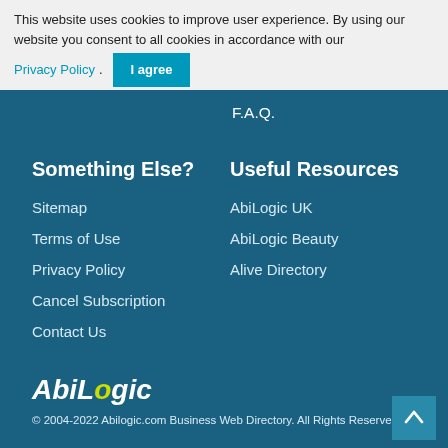This website uses cookies to improve user experience. By using our website you consent to all cookies in accordance with our Privacy Policy.
F.A.Q.
Something Else?
Useful Resources
Sitemap
AbiLogic UK
Terms of Use
AbiLogic Beauty
Privacy Policy
Alive Directory
Cancel Subscription
Contact Us
AbiLogic
© 2004-2022 Abilogic.com Business Web Directory. All Rights Reserved